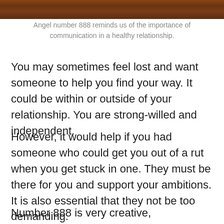[Figure (photo): Dark reddish-brown image strip at top of page, appears to be a cropped nature or outdoor photo]
Angel number 888 reminds us of the importance of communication in a healthy relationship.
You may sometimes feel lost and want someone to help you find your way. It could be within or outside of your relationship. You are strong-willed and independent.
However, it would help if you had someone who could get you out of a rut when you get stuck in one. They must be there for you and support your ambitions. It is also essential that they not be too demanding.
Number 888 is very creative, inspirational, loving, and romantic. It is conducive to